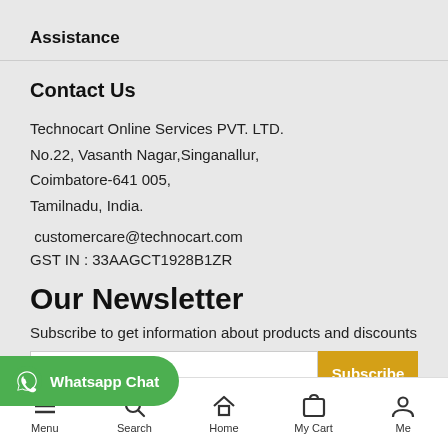Assistance
Contact Us
Technocart Online Services PVT. LTD.
No.22, Vasanth Nagar,Singanallur,
Coimbatore-641 005,
Tamilnadu, India.
customercare@technocart.com
GST IN : 33AAGCT1928B1ZR
Our Newsletter
Subscribe to get information about products and discounts
enter your email here
Subscribe
[Figure (other): WhatsApp Chat button overlay]
Menu  Search  Home  My Cart  Me